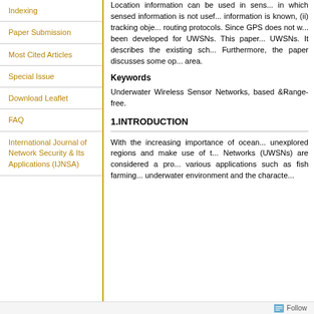Indexing
Paper Submission
Most Cited Articles
Special Issue
Download Leaflet
FAQ
International Journal of Network Security & Its Applications (IJNSA)
Location information can be used in sens... in which sensed information is not usef... information is known, (ii) tracking obje... routing protocols. Since GPS does not w... been developed for UWSNs. This paper... UWSNs. It describes the existing sch... Furthermore, the paper discusses some op... area.
Keywords
Underwater Wireless Sensor Networks, based &Range-free.
1.INTRODUCTION
With the increasing importance of ocean... unexplored regions and make use of t... Networks (UWSNs) are considered a pro... various applications such as fish farming... underwater environment and the characte...
Follow